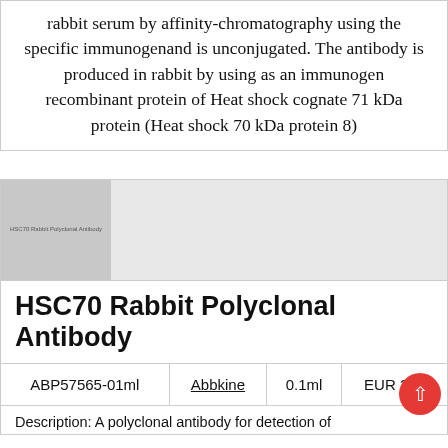rabbit serum by affinity-chromatography using the specific immunogenand is unconjugated. The antibody is produced in rabbit by using as an immunogen recombinant protein of Heat shock cognate 71 kDa protein (Heat shock 70 kDa protein 8)
[Figure (photo): Product image placeholder showing label text: HSC70 Rabbit Polyclonal Antibody]
HSC70 Rabbit Polyclonal Antibody
| ABP57565-01ml | Abbkine | 0.1ml | EUR 289 |
| --- | --- | --- | --- |
Description: A polyclonal antibody for detection of